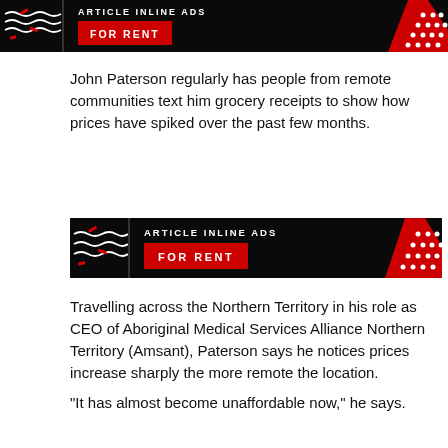[Figure (other): Article inline ad banner for rent - top, partially visible]
John Paterson regularly has people from remote communities text him grocery receipts to show how prices have spiked over the past few months.
[Figure (other): Article inline ad banner: ARTICLE INLINE ADS FOR RENT]
Travelling across the Northern Territory in his role as CEO of Aboriginal Medical Services Alliance Northern Territory (Amsant), Paterson says he notices prices increase sharply the more remote the location.
“It has almost become unaffordable now,” he says.
In the Northern Territory, food in supermarkets is 56% more